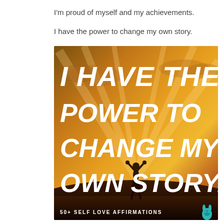I'm proud of myself and my achievements.
I have the power to change my own story.
[Figure (illustration): Motivational quote image with orange/golden sunset background, silhouette of a person with arms raised, large white bold italic text reading 'I HAVE THE POWER TO CHANGE MY OWN STORY.' with subtitle '50+ SELF LOVE AFFIRMATIONS' and a teal bunny logo in the bottom right corner.]